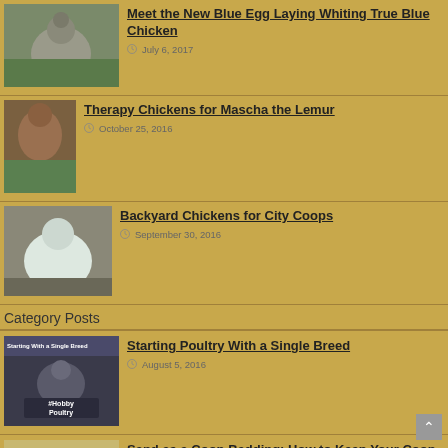[Figure (photo): Gray chicken standing on grass]
Meet the New Blue Egg Laying Whiting True Blue Chicken
July 6, 2017
[Figure (photo): Lemur or primate with plant]
Therapy Chickens for Mascha the Lemur
October 25, 2016
[Figure (photo): White chicken in dirt]
Backyard Chickens for City Coops
September 30, 2016
Category Posts
[Figure (photo): Starting With a Single Breed - Hobby Poultry thumbnail]
Starting Poultry With a Single Breed
August 5, 2016
[Figure (photo): Sand and tractor image]
Sand as a Coop Bedding: How to Keep Your Coop Dry and Clean
July 23, 2016